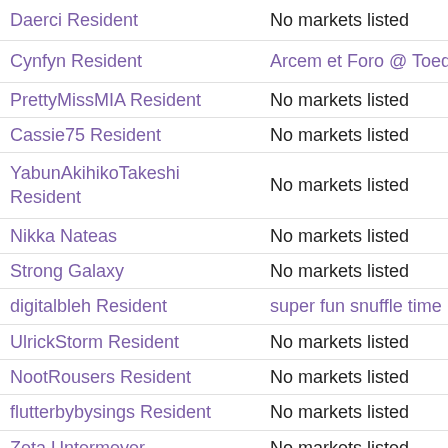| Name | Market |
| --- | --- |
| Daerci Resident | No markets listed |
| Cynfyn Resident | Arcem et Foro @ Toeda |
| PrettyMissMIA Resident | No markets listed |
| Cassie75 Resident | No markets listed |
| YabunAkihikoTakeshi Resident | No markets listed |
| Nikka Nateas | No markets listed |
| Strong Galaxy | No markets listed |
| digitalbleh Resident | super fun snuffle time |
| UlrickStorm Resident | No markets listed |
| NootRousers Resident | No markets listed |
| flutterbybysings Resident | No markets listed |
| Zeta Untermeyer | No markets listed |
| COCONUTS DeCuir | No markets listed |
| storyguy Kidd | No markets listed |
| KoachelIlaLove Resident | No markets listed |
| Galaksia Resident | No markets listed |